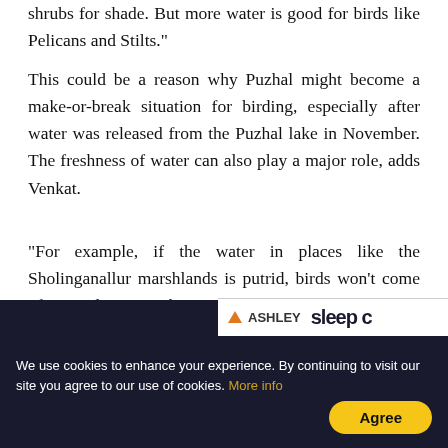shrubs for shade. But more water is good for birds like Pelicans and Stilts."
This could be a reason why Puzhal might become a make-or-break situation for birding, especially after water was released from the Puzhal lake in November. The freshness of water can also play a major role, adds Venkat.
"For example, if the water in places like the Sholinganallur marshlands is putrid, birds won't come often until it rains," he says.
Availability of food sources like insects is another factor, according to Dr V
[Figure (other): Ashley furniture advertisement banner partially overlapping article text]
We use cookies to enhance your experience. By continuing to visit our site you agree to our use of cookies. More info